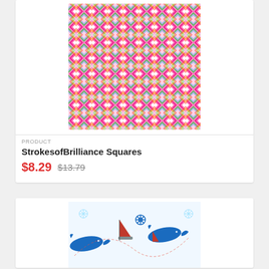[Figure (illustration): Colorful geometric diamond/square pattern in pink, green, red, yellow, and teal colors arranged in a repeating diagonal grid pattern]
PRODUCT
StrokesofBrilliance Squares
$8.29  $13.79
[Figure (illustration): Nautical pattern with blue whales, sailboats, and steering wheels on a white background with red dashed lines]